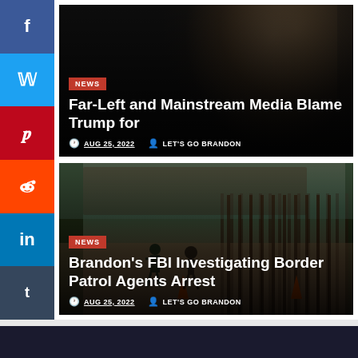[Figure (screenshot): Social media share sidebar with Facebook, Twitter, Pinterest, Reddit, LinkedIn, Tumblr buttons]
[Figure (photo): Dark photo of Donald Trump silhouette with NEWS badge, headline about Far-Left and Mainstream Media blaming Trump]
Far-Left and Mainstream Media Blame Trump for
AUG 25, 2022  LET'S GO BRANDON
[Figure (photo): Border fence scene with person running, orange cones visible, NEWS badge, headline about Brandon's FBI Investigating Border Patrol Agents Arrest]
Brandon's FBI Investigating Border Patrol Agents Arrest
AUG 25, 2022  LET'S GO BRANDON